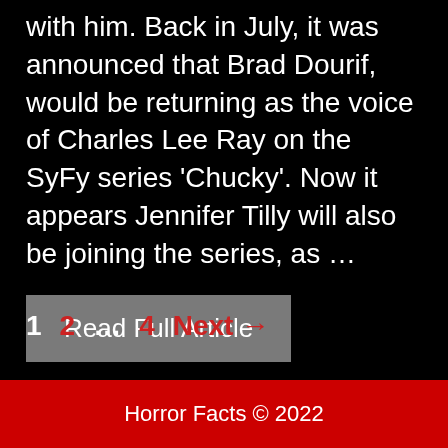with him. Back in July, it was announced that Brad Dourif, would be returning as the voice of Charles Lee Ray on the SyFy series 'Chucky'. Now it appears Jennifer Tilly will also be joining the series, as ...
Read Full Article
1  2  ...  4  Next →
Horror Facts © 2022